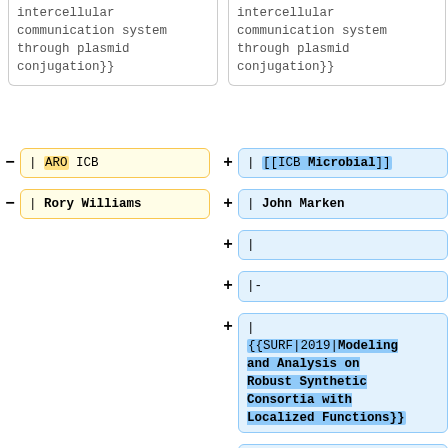intercellular communication system through plasmid conjugation}} (left, clipped top)
intercellular communication system through plasmid conjugation}} (right, clipped top)
- | ARO ICB
+ | [[ICB Microbial]]
- | Rory Williams
+ | John Marken
+ |
+ |-
+ | {{SURF|2019|Modeling and Analysis on Robust Synthetic Consortia with Localized Functions}}
+ | [[DARPA BioCon]]
+ | Xinying (Cindy) Ren